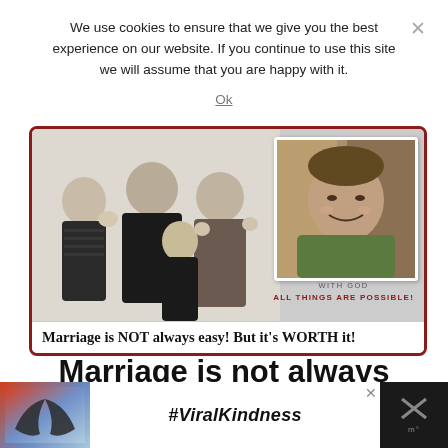We use cookies to ensure that we give you the best experience on our website. If you continue to use this site we will assume that you are happy with it.
Ok
[Figure (photo): Composite image: left side shows a family of four (man, woman, two young blonde girls) posing together against a cream background; right side shows a headshot of a man in a green shirt. Below the headshot text reads 'WITH GOD ALL THINGS ARE POSSIBLE!' Bottom caption reads 'Marriage is NOT always easy! But it's WORTH it!']
Marriage is not always
[Figure (infographic): Advertisement banner: left section shows hands forming a heart shape against a sunset sky, center shows '#ViralKindness' text on white background, right shows a logo with X mark]